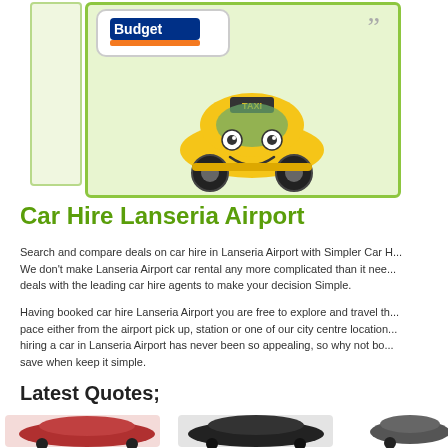[Figure (illustration): Cartoon yellow smiling car character inside a light green bordered box, with Budget car rental logo and speech bubble with quotation marks at top. A light green panel/bar is visible on the left side.]
Car Hire Lanseria Airport
Search and compare deals on car hire in Lanseria Airport with Simpler Car H... We don't make Lanseria Airport car rental any more complicated than it nee... deals with the leading car hire agents to make your decision Simple.
Having booked car hire Lanseria Airport you are free to explore and travel th... pace either from the airport pick up, station or one of our city centre location... hiring a car in Lanseria Airport has never been so appealing, so why not bo... save when keep it simple.
Latest Quotes;
[Figure (photo): Row of three car photos at the bottom: a red hatchback on the left, a black mini-style car in the center, and a partial view of another car on the right.]